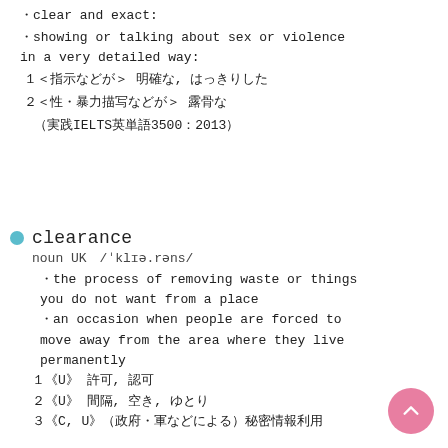· clear and exact:
· showing or talking about sex or violence in a very detailed way:
１＜指示などが＞ 明確な, はっきりした
２＜性・暴力描写などが＞ 露骨な
（実践IELTS英単語3500：2013）
clearance
noun UK　/ˈklɪə.rəns/
· the process of removing waste or things you do not want from a place
· an occasion when people are forced to move away from the area where they live permanently
１《U》 許可, 認可
２《U》 間隔, 空き, ゆとり
３《C, U》（政府・軍などによる）秘密情報利用